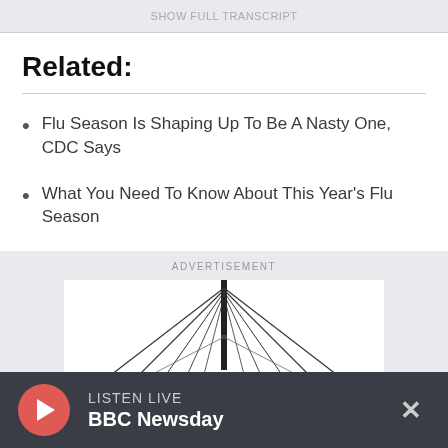SHOW FULL TRANSCRIPT
Related:
Flu Season Is Shaping Up To Be A Nasty One, CDC Says
What You Need To Know About This Year's Flu Season
ADVERTISEMENT
[Figure (photo): Black and white photo of a cable-stayed bridge viewed from below, showing cables radiating from top of tower]
LISTEN LIVE BBC Newsday